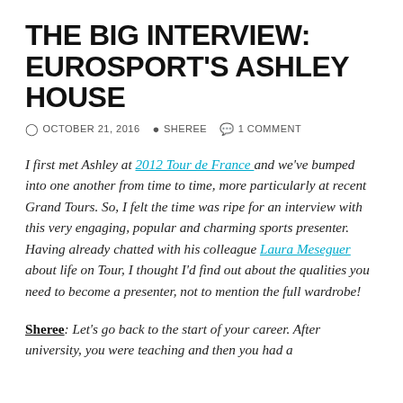THE BIG INTERVIEW: EUROSPORT'S ASHLEY HOUSE
OCTOBER 21, 2016   SHEREE   1 COMMENT
I first met Ashley at 2012 Tour de France and we've bumped into one another from time to time, more particularly at recent Grand Tours. So, I felt the time was ripe for an interview with this very engaging, popular and charming sports presenter. Having already chatted with his colleague Laura Meseguer about life on Tour, I thought I'd find out about the qualities you need to become a presenter, not to mention the full wardrobe!
Sheree: Let's go back to the start of your career. After university, you were teaching and then you had a